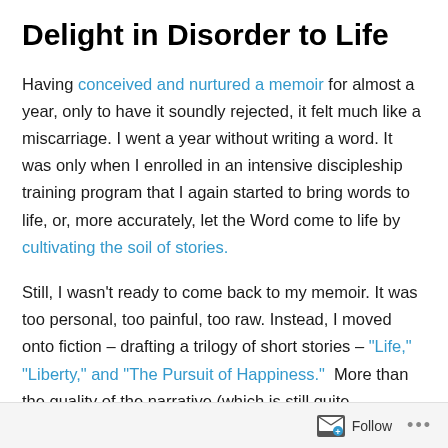Delight in Disorder to Life
Having conceived and nurtured a memoir for almost a year, only to have it soundly rejected, it felt much like a miscarriage. I went a year without writing a word. It was only when I enrolled in an intensive discipleship training program that I again started to bring words to life, or, more accurately, let the Word come to life by cultivating the soil of stories.
Still, I wasn't ready to come back to my memoir. It was too personal, too painful, too raw. Instead, I moved onto fiction – drafting a trilogy of short stories – "Life," "Liberty," and "The Pursuit of Happiness."  More than the quality of the narrative (which is still quite unfinished), the discipline of daily writing as I created characters, developed dialogue
Follow